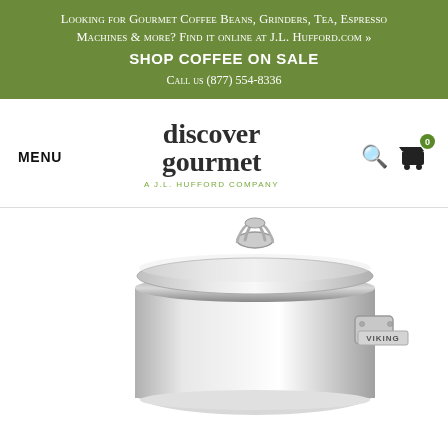Looking for Gourmet Coffee Beans, Grinders, Tea, Espresso Machines & more? Find it online at J.L. Hufford.com » SHOP COFFEE ON SALE Call us (877) 554-8336
[Figure (logo): Discover Gourmet - A J.L. Hufford Company logo with MENU label on left and search/cart icons on right]
[Figure (photo): Viking stainless steel stock pot with glass lid, showing silver pot with Viking branded handle and glass lid with stainless steel handle knob]